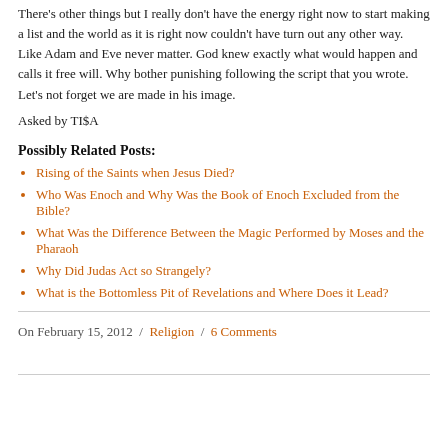There's other things but I really don't have the energy right now to start making a list and the world as it is right now couldn't have turn out any other way. Like Adam and Eve never matter. God knew exactly what would happen and calls it free will. Why bother punishing following the script that you wrote. Let's not forget we are made in his image.
Asked by TI$A
Possibly Related Posts:
Rising of the Saints when Jesus Died?
Who Was Enoch and Why Was the Book of Enoch Excluded from the Bible?
What Was the Difference Between the Magic Performed by Moses and the Pharaoh
Why Did Judas Act so Strangely?
What is the Bottomless Pit of Revelations and Where Does it Lead?
On February 15, 2012 / Religion / 6 Comments